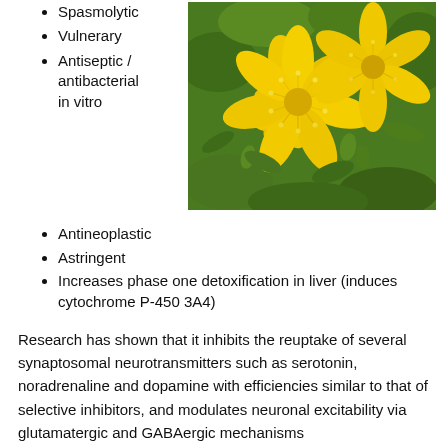Spasmolytic
Vulnerary
Antiseptic / antibacterial in vitro
[Figure (photo): Close-up photograph of bright yellow St. John's Wort flowers with many stamens, surrounded by green buds and leaves]
Antineoplastic
Astringent
Increases phase one detoxification in liver (induces cytochrome P-450 3A4)
Research has shown that it inhibits the reuptake of several synaptosomal neurotransmitters such as serotonin, noradrenaline and dopamine with efficiencies similar to that of selective inhibitors, and modulates neuronal excitability via glutamatergic and GABAergic mechanisms